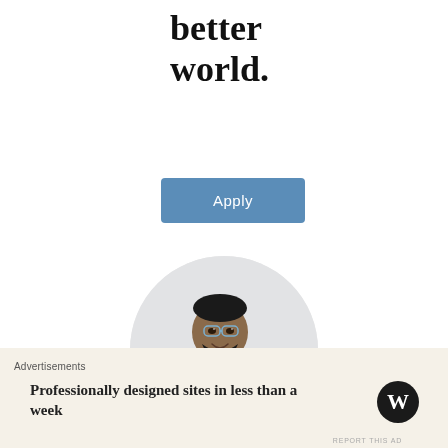better world.
Apply
[Figure (photo): Circular photo of a smiling young Black man with glasses, wearing a beige t-shirt, resting his chin on his hand while sitting at a desk, looking upward thoughtfully]
REPORT THIS AD
Advertisements
Professionally designed sites in less than a week
[Figure (logo): WordPress logo — black W in a circle]
REPORT THIS AD